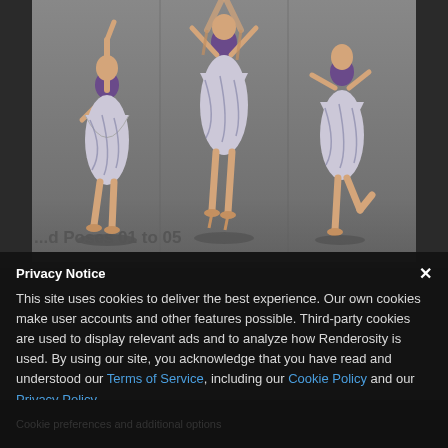[Figure (illustration): 3D rendered female figure with purple hair wearing a floral sundress, shown in three poses: left figure with arm raised, center figure standing, right figure balancing on one leg. Grey background, studio-style render.]
...d Poses 01 to 05
Privacy Notice
This site uses cookies to deliver the best experience. Our own cookies make user accounts and other features possible. Third-party cookies are used to display relevant ads and to analyze how Renderosity is used. By using our site, you acknowledge that you have read and understood our Terms of Service, including our Cookie Policy and our Privacy Policy.